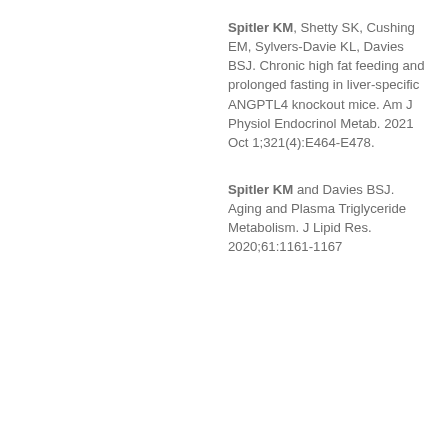Spitler KM, Shetty SK, Cushing EM, Sylvers-Davie KL, Davies BSJ. Chronic high fat feeding and prolonged fasting in liver-specific ANGPTL4 knockout mice. Am J Physiol Endocrinol Metab. 2021 Oct 1;321(4):E464-E478.
Spitler KM and Davies BSJ. Aging and Plasma Triglyceride Metabolism. J Lipid Res. 2020;61:1161-1167